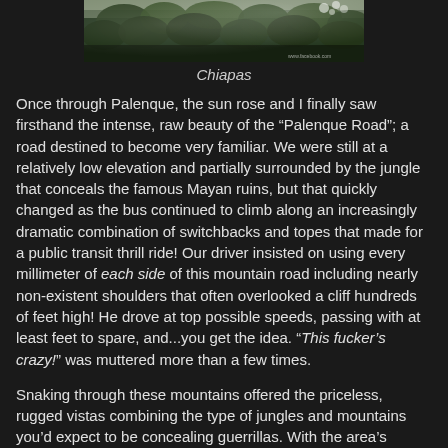[Figure (photo): Photograph of Chiapas jungle and mountain landscape, dark green foliage with misty trees]
Chiapas
Once through Palenque, the sun rose and I finally saw firsthand the intense, raw beauty of the “Palenque Road”; a road destined to become very familiar. We were still at a relatively low elevation and partially surrounded by the jungle that conceals the famous Mayan ruins, but that quickly changed as the bus continued to climb along an increasingly dramatic combination of switchbacks and topes that made for a public transit thrill ride! Our driver insisted on using every millimeter of each side of this mountain road including nearly non-existent shoulders that often overlooked a cliff hundreds of feet high! He drove at top possible speeds, passing with at least feet to spare, and...you get the idea. “This fucker’s crazy!” was muttered more than a few times.
Snaking through these mountains offered the priceless, rugged vistas combining the type of jungles and mountains you’d expect to be concealing guerrillas. With the area’s revolutionary zeal, history of revolt, and the occasional Zapatista village, Che Guevara’s image is never far away,